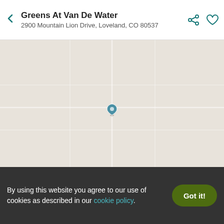Greens At Van De Water
2900 Mountain Lion Drive, Loveland, CO 80537
[Figure (map): Embedded map showing location area, light grey/beige tones with a small marker pin near center]
Contact
Apply
Nearby Schools
By using this website you agree to our use of cookies as described in our cookie policy.
Got it!